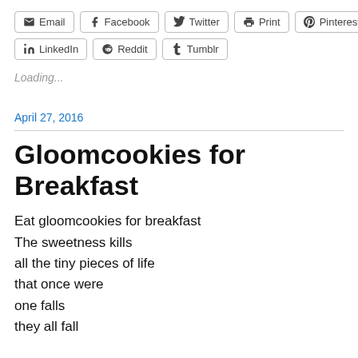Email  Facebook  Twitter  Print  Pinterest
LinkedIn  Reddit  Tumblr
Loading...
April 27, 2016
Gloomcookies for Breakfast
Eat gloomcookies for breakfast
The sweetness kills
all the tiny pieces of life
that once were
one falls
they all fall